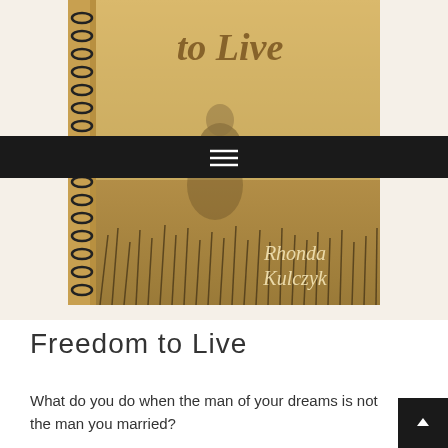[Figure (illustration): Book cover for 'Freedom to Live' by Rhonda Kulczyk. A spiral-bound notebook style cover with sepia/golden tones showing a misty figure in a field with tall grass. The title 'to Live' appears at the top in cursive script, and the author name 'Rhonda Kulczyk' appears in cursive at the bottom right. A dark navigation bar with a hamburger menu icon overlaps the middle of the image.]
Freedom to Live
What do you do when the man of your dreams is not the man you married?